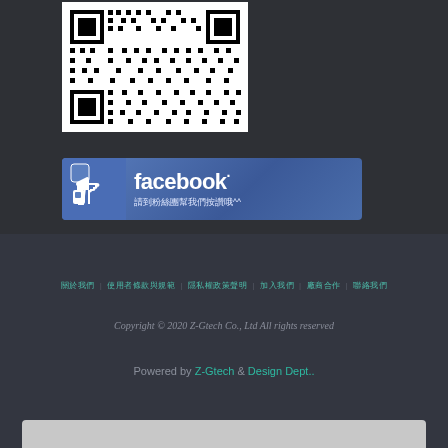[Figure (other): QR code image in white background]
[Figure (other): Facebook fan page banner with thumbs up icon, 'facebook.' text, and Chinese subtitle '請到粉絲團幫我們按讚哦^^']
關於我們 | 使用者條款與規範 | 隱私權政策聲明 | 加入我們 | 廠商合作 | 聯絡我們
Copyright © 2020 Z-Gtech Co., Ltd All rights reserved
Powered by Z-Gtech & Design Dept..
[Figure (other): Bottom bar / scrollbar area in light gray]